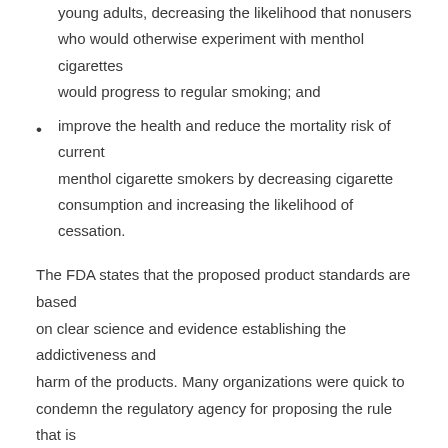reduce the appeal of cigarettes, particularly to youth and young adults, decreasing the likelihood that nonusers who would otherwise experiment with menthol cigarettes would progress to regular smoking; and
improve the health and reduce the mortality risk of current menthol cigarette smokers by decreasing cigarette consumption and increasing the likelihood of cessation.
The FDA states that the proposed product standards are based on clear science and evidence establishing the addictiveness and harm of the products. Many organizations were quick to condemn the regulatory agency for proposing the rule that is opposed by all major law enforcement, civil rights and criminal justice reform organizations. Opponents of the menthol ban say that evidence clearly shows that banning menthol products will do nothing to reduce combustible cigarette smoking rates but will lead to an increase in people purchasing products on the